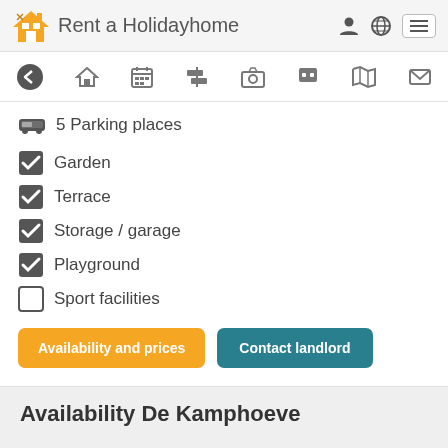Rent a Holidayhome
5 Parking places
✔ Garden
✔ Terrace
✔ Storage / garage
✔ Playground
☐ Sport facilities
Availability and prices | Contact landlord
Availability De Kamphoeve